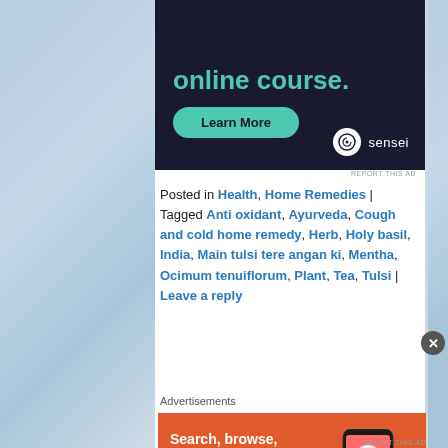[Figure (screenshot): Dark background advertisement banner showing 'online course.' text in teal, a 'Learn More' green pill button, and a sensei logo with icon at bottom right]
Posted in Health, Home Remedies | Tagged Anti oxidant, Ayurveda, Cough and cold home remedy, Herb, Holy basil, India, Main tulsi tere angan ki, Mentha, Ocimum tenuiflorum, Plant, Tea, Tulsi | Leave a reply
Advertisements
[Figure (screenshot): DuckDuckGo advertisement on orange background with text 'Search, browse, and email with more privacy.' and 'All in One Free App' button, with phone showing DuckDuckGo app on right]